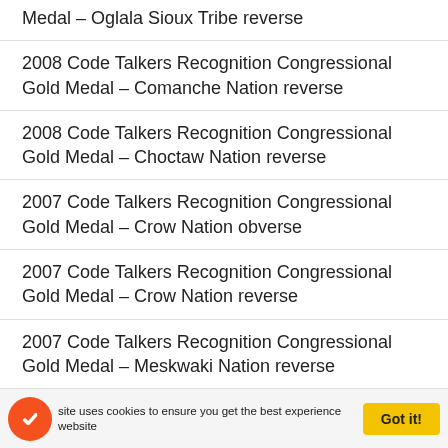Medal – Oglala Sioux Tribe reverse
2008 Code Talkers Recognition Congressional Gold Medal – Comanche Nation reverse
2008 Code Talkers Recognition Congressional Gold Medal – Choctaw Nation reverse
2007 Code Talkers Recognition Congressional Gold Medal – Crow Nation obverse
2007 Code Talkers Recognition Congressional Gold Medal – Crow Nation reverse
2007 Code Talkers Recognition Congressional Gold Medal – Meskwaki Nation reverse
2007 Code Talkers Recognition Congressional Gold Medal – Osage Nation reverse
2007 Code Talkers Recognition Congressional Gold Medal – Sisseton Wahpeton Oyate Sioux reverse